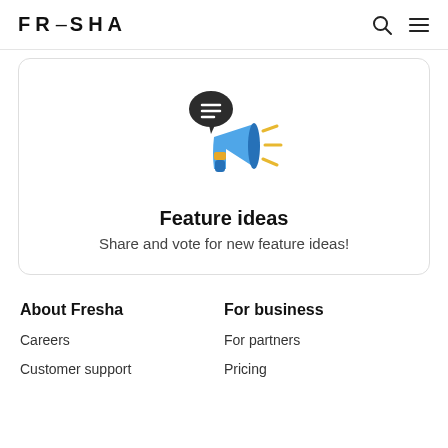FRESHA
[Figure (illustration): Megaphone with speech bubble icon and yellow lines indicating sound, blue and dark colors]
Feature ideas
Share and vote for new feature ideas!
About Fresha
Careers
Customer support
For business
For partners
Pricing